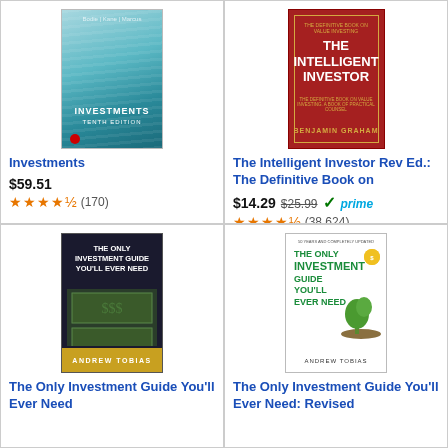[Figure (photo): Book cover: Investments by Bodie, Kane, Marcus - teal wavy lines design]
Investments
$59.51
★★★★½ (170)
[Figure (photo): Book cover: The Intelligent Investor by Benjamin Graham - red cover with gold border]
The Intelligent Investor Rev Ed.: The Definitive Book on
$14.29 $25.99 ✓prime
★★★★½ (38,624)
[Figure (photo): Book cover: The Only Investment Guide You'll Ever Need by Andrew Tobias - dark with money bills]
The Only Investment Guide You'll Ever Need
[Figure (photo): Book cover: The Only Investment Guide You'll Ever Need: Revised edition by Andrew Tobias - white cover with green plant]
The Only Investment Guide You'll Ever Need: Revised